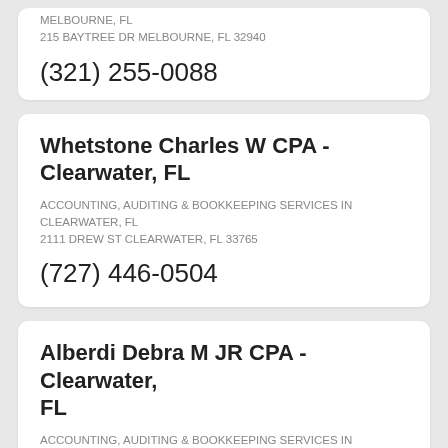MELBOURNE, FL
215 Baytree Dr Melbourne, FL 32940
(321) 255-0088
Whetstone Charles W CPA - Clearwater, FL
ACCOUNTING, AUDITING & BOOKKEEPING SERVICES IN CLEARWATER, FL
2111 Drew St Clearwater, FL 33765
(727) 446-0504
Alberdi Debra M JR CPA - Clearwater, FL
ACCOUNTING, AUDITING & BOOKKEEPING SERVICES IN CLEARWATER, FL
2111 Drew St Clearwater, FL 33765
(727) 446-0504